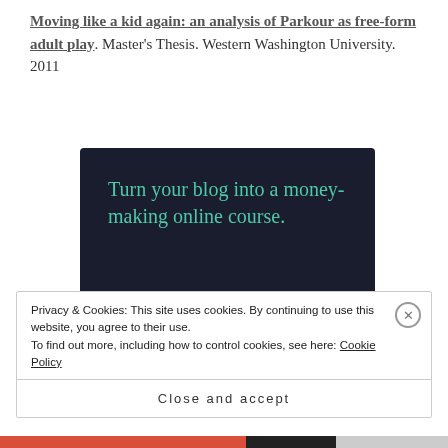Moving like a kid again: an analysis of Parkour as free-form adult play. Master's Thesis. Western Washington University. 2011
[Figure (infographic): Dark-themed advertisement banner for Sensei platform: 'Turn your blog into a money-making online course.' with a teal 'Learn More' button and Sensei logo.]
Privacy & Cookies: This site uses cookies. By continuing to use this website, you agree to their use. To find out more, including how to control cookies, see here: Cookie Policy
Close and accept